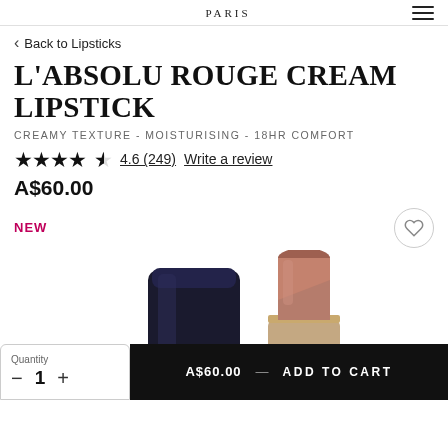PARIS / menu
Back to Lipsticks
L'ABSOLU ROUGE CREAM LIPSTICK
CREAMY TEXTURE - MOISTURISING - 18HR COMFORT
4.6 (249) Write a review
A$60.00
NEW
[Figure (photo): Product photo of L'Absolu Rouge Cream Lipstick showing black cap and mauve-brown lipstick bullet with LANCOME branding]
Quantity 1 - +
A$60.00 — ADD TO CART